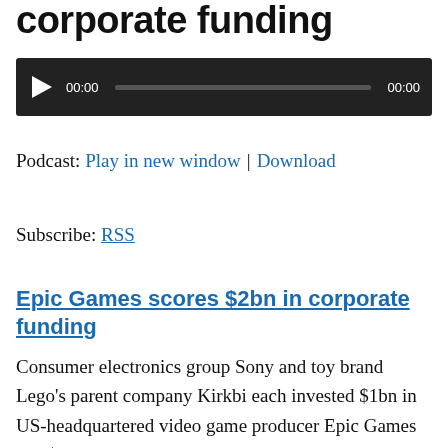corporate funding
[Figure (other): Audio player widget with play button, 00:00 time display, progress bar, and 00:00 end time on dark background]
Podcast: Play in new window | Download
Subscribe: RSS
Epic Games scores $2bn in corporate funding
Consumer electronics group Sony and toy brand Lego's parent company Kirkbi each invested $1bn in US-headquartered video game producer Epic Games at a $31.5bn valuation.